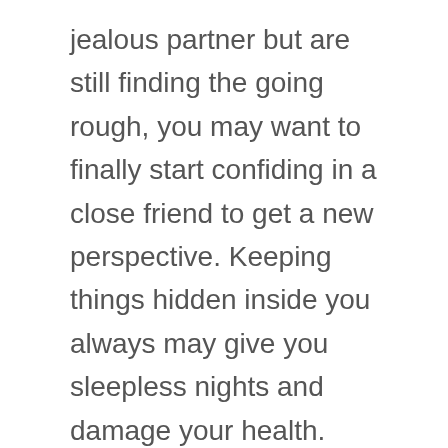jealous partner but are still finding the going rough, you may want to finally start confiding in a close friend to get a new perspective. Keeping things hidden inside you always may give you sleepless nights and damage your health.
Aquarius (January 21 to February 19)
There is a huge chance that someone you work with, or interact with on a frequent